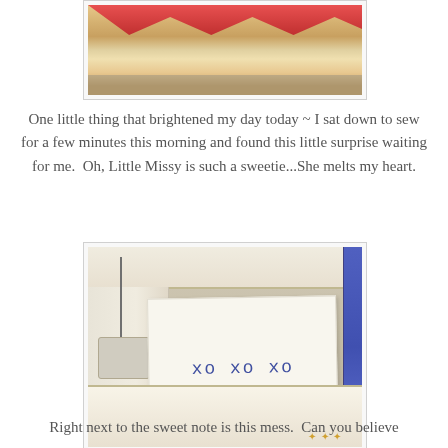[Figure (photo): Photo of a fabric basket or tote bag with floral/fruit print fabric, viewed from above, sitting on a grey surface]
One little thing that brightened my day today ~ I sat down to sew for a few minutes this morning and found this little surprise waiting for me.  Oh, Little Missy is such a sweetie...She melts my heart.
[Figure (photo): Photo of a sewing machine with a handwritten note placed on it that reads 'xo xo xo', with yellow pins visible nearby and a book/manual in background]
Right next to the sweet note is this mess.  Can you believe